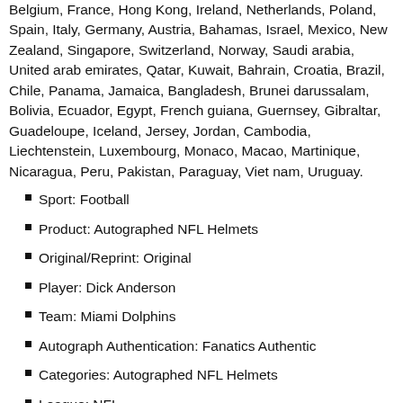Belgium, France, Hong Kong, Ireland, Netherlands, Poland, Spain, Italy, Germany, Austria, Bahamas, Israel, Mexico, New Zealand, Singapore, Switzerland, Norway, Saudi arabia, United arab emirates, Qatar, Kuwait, Bahrain, Croatia, Brazil, Chile, Panama, Jamaica, Bangladesh, Brunei darussalam, Bolivia, Ecuador, Egypt, French guiana, Guernsey, Gibraltar, Guadeloupe, Iceland, Jersey, Jordan, Cambodia, Liechtenstein, Luxembourg, Monaco, Macao, Martinique, Nicaragua, Peru, Pakistan, Paraguay, Viet nam, Uruguay.
Sport: Football
Product: Autographed NFL Helmets
Original/Reprint: Original
Player: Dick Anderson
Team: Miami Dolphins
Autograph Authentication: Fanatics Authentic
Categories: Autographed NFL Helmets
League: NFL
Condition: New